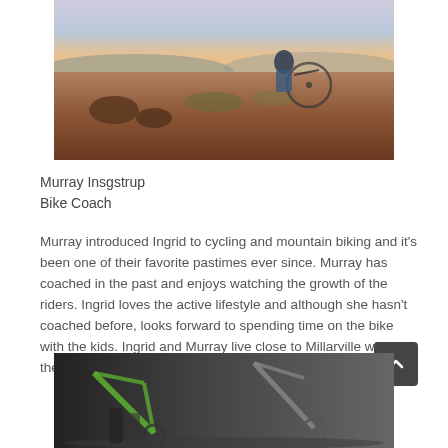[Figure (photo): Two people with mountain bikes on a desert trail at sunset with rocky terrain and scrub brush]
Murray Insgstrup
Bike Coach
Murray introduced Ingrid to cycling and mountain biking and it's been one of their favorite pastimes ever since. Murray has coached in the past and enjoys watching the growth of the riders. Ingrid loves the active lifestyle and although she hasn't coached before, looks forward to spending time on the bike with the kids. Ingrid and Murray live close to Millarville with their two boys, and love to bike, ski and hike.
[Figure (photo): Close-up photo of mountain bikes and cyclists' legs on rocky ground]